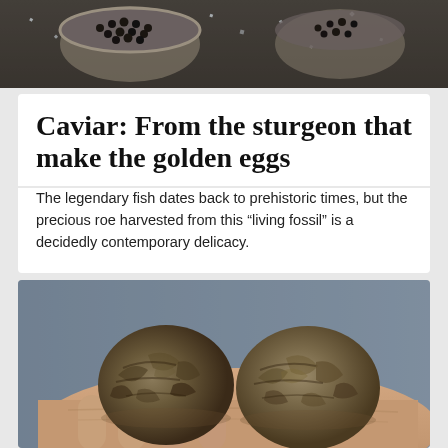[Figure (photo): Close-up photo of caviar in a tin container with ice/salt crystals visible around it]
Caviar: From the sturgeon that make the golden eggs
The legendary fish dates back to prehistoric times, but the precious roe harvested from this “living fossil” is a decidedly contemporary delicacy.
[Figure (photo): Two dark brown truffles resting on a person's open hand, with a blurred blue-grey background]